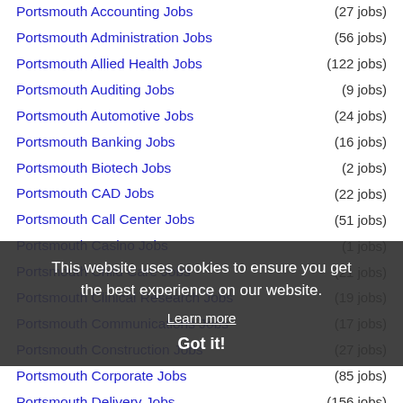Portsmouth Accounting Jobs (27 jobs)
Portsmouth Administration Jobs (56 jobs)
Portsmouth Allied Health Jobs (122 jobs)
Portsmouth Auditing Jobs (9 jobs)
Portsmouth Automotive Jobs (24 jobs)
Portsmouth Banking Jobs (16 jobs)
Portsmouth Biotech Jobs (2 jobs)
Portsmouth CAD Jobs (22 jobs)
Portsmouth Call Center Jobs (51 jobs)
Portsmouth Casino Jobs (1 jobs)
Portsmouth Child Care Jobs (21 jobs)
Portsmouth Clinical Research Jobs (19 jobs)
Portsmouth Communications Jobs (17 jobs)
Portsmouth Construction Jobs (27 jobs)
Portsmouth Corporate Jobs (85 jobs)
Portsmouth Delivery Jobs (156 jobs)
Portsmouth Distribution Jobs (35 jobs)
Portsmouth Education Jobs (299 jobs)
Portsmouth Engineering Jobs (55 jobs)
Portsmouth Entertainment Jobs (13 jobs)
This website uses cookies to ensure you get the best experience on our website. Learn more Got it!